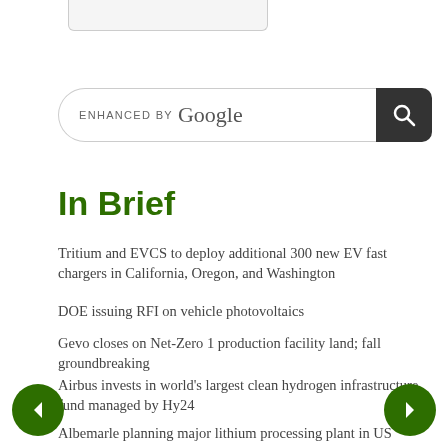[Figure (screenshot): Top portion of a webpage screenshot showing a partial logo/image at the top, a Google-enhanced search bar, and an 'In Brief' news section with bullet news items about EV chargers, DOE RFI, Gevo, Airbus, and Albemarle.]
In Brief
Tritium and EVCS to deploy additional 300 new EV fast chargers in California, Oregon, and Washington
DOE issuing RFI on vehicle photovoltaics
Gevo closes on Net-Zero 1 production facility land; fall groundbreaking
Airbus invests in world's largest clean hydrogen infrastructure fund managed by Hy24
Albemarle planning major lithium processing plant in US